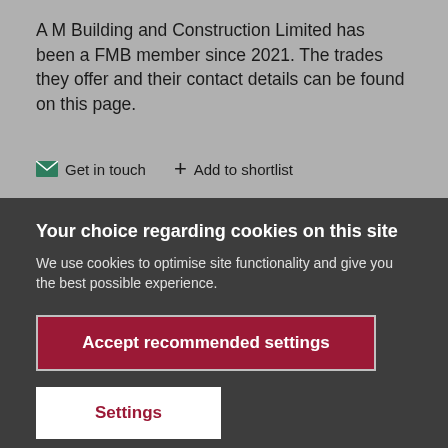A M Building and Construction Limited has been a FMB member since 2021. The trades they offer and their contact details can be found on this page.
Get in touch   Add to shortlist
Your choice regarding cookies on this site
We use cookies to optimise site functionality and give you the best possible experience.
Accept recommended settings
Settings